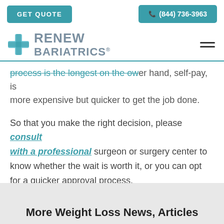GET QUOTE | (844) 736-3963
[Figure (logo): Renew Bariatrics logo with teal cross and gray text]
process is the longest on the other hand, self-pay, is more expensive but quicker to get the job done.
So that you make the right decision, please consult with a professional surgeon or surgery center to know whether the wait is worth it, or you can opt for a quicker approval process.
More Weight Loss News, Articles